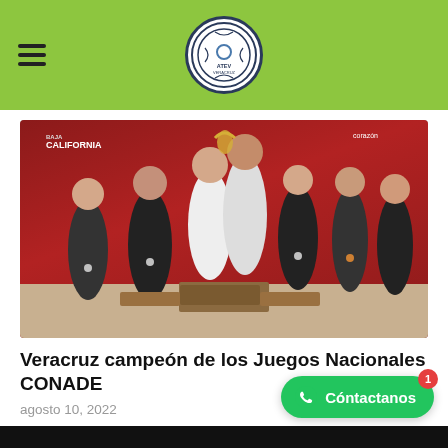ATEV Veracruz tennis logo and navigation header
[Figure (photo): Group of tennis players standing on a podium with medals, in front of a red backdrop reading 'Baja California' and other event logos, celebrating a championship victory.]
Veracruz campeón de los Juegos Nacionales CONADE
agosto 10, 2022
Cóntactanos